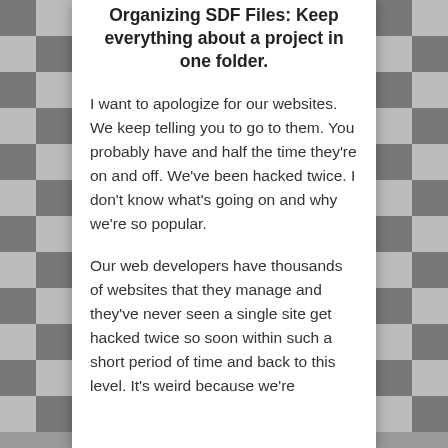Organizing SDF Files: Keep everything about a project in one folder.
I want to apologize for our websites. We keep telling you to go to them. You probably have and half the time they're on and off. We've been hacked twice. I don't know what's going on and why we're so popular.
Our web developers have thousands of websites that they manage and they've never seen a single site get hacked twice so soon within such a short period of time and back to this level. It's weird because we're